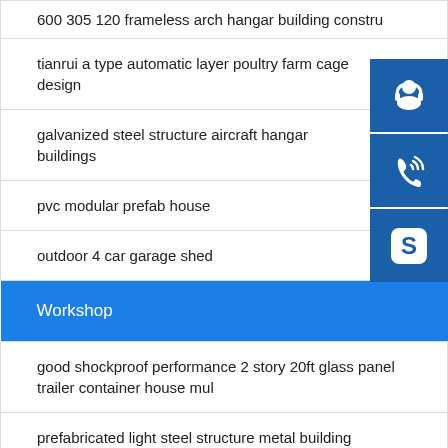600 305 120 frameless arch hangar building constru
tianrui a type automatic layer poultry farm cage design
galvanized steel structure aircraft hangar buildings
pvc modular prefab house
outdoor 4 car garage shed
Workshop
good shockproof performance 2 story 20ft glass panel trailer container house mul
prefabricated light steel structure metal building construction for new zealand